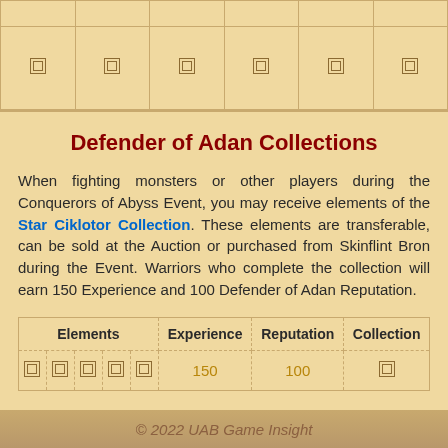|  |  |  |  |  |  |
| --- | --- | --- | --- | --- | --- |
| ■ | ■ | ■ | ■ | ■ | ■ |
Defender of Adan Collections
When fighting monsters or other players during the Conquerors of Abyss Event, you may receive elements of the Star Ciklotor Collection. These elements are transferable, can be sold at the Auction or purchased from Skinflint Bron during the Event. Warriors who complete the collection will earn 150 Experience and 100 Defender of Adan Reputation.
| Elements | Experience | Reputation | Collection |
| --- | --- | --- | --- |
| ■ ■ ■ ■ ■ | 150 | 100 | ■ |
© 2022 UAB Game Insight